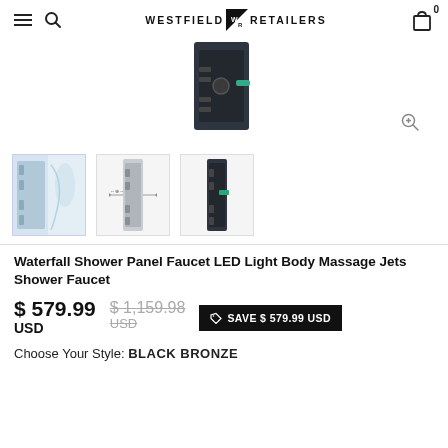WESTFIELD WR RETAILERS — navigation bar with hamburger, search, logo, cart (0)
[Figure (photo): Main product image: black shower panel faucet unit on white background, with zoom icon in bottom right]
[Figure (photo): Thumbnail 1: shower panel installed in bathroom with person showering]
[Figure (photo): Thumbnail 2: shower panel product with dimension lines]
[Figure (photo): Thumbnail 3: black shower panel product close-up]
Waterfall Shower Panel Faucet LED Light Body Massage Jets Shower Faucet
$ 579.99 USD   $ 1,159.98 USD   SAVE $ 579.99 USD
Choose Your Style: BLACK BRONZE